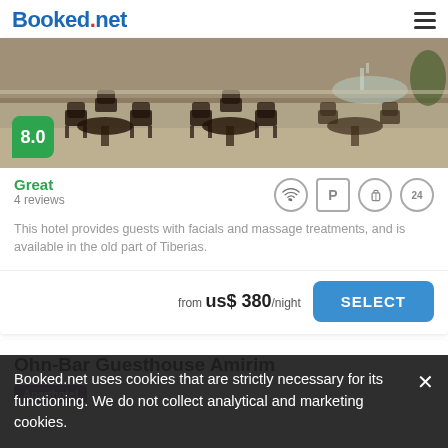Booked.net
[Figure (photo): Outdoor patio with ornate metal chairs and tables, fountain in background]
Great
4 reviews
This hotel provides guests with facials and massage treatments, and is available in the old part of Tiberias.
from us$ 380/night
Ohn-Bar Guesthouse Amirim
Aparthotel
Booked.net uses cookies that are strictly necessary for its functioning. We do not collect analytical and marketing cookies.